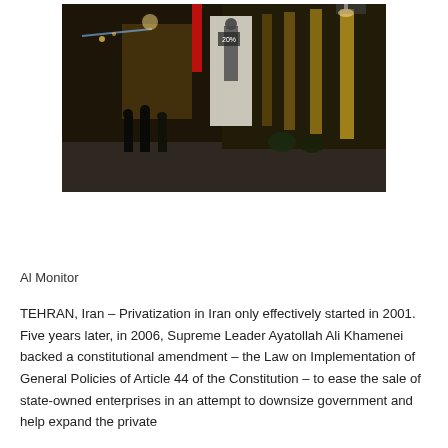[Figure (photo): Night street scene showing people walking past illuminated storefronts with warm golden lighting, mannequins in display windows, and a red banner visible. The sidewalk is dark and the buildings are lit from inside.]
Al Monitor
TEHRAN, Iran – Privatization in Iran only effectively started in 2001. Five years later, in 2006, Supreme Leader Ayatollah Ali Khamenei backed a constitutional amendment – the Law on Implementation of General Policies of Article 44 of the Constitution – to ease the sale of state-owned enterprises in an attempt to downsize government and help expand the private